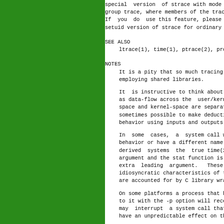special  version  of strace with mode group trace, where members of the trac If  you  do  use this feature, please setuid version of strace for ordinary
SEE ALSO
ltrace(1), time(1), ptrace(2), proc(5)
NOTES
It is a pity that so much tracing clut employing shared libraries.
It  is instructive to think about syst as data-flow across the  user/kernel  space and kernel-space are separate an sometimes possible to make deductive  behavior using inputs and outputs as p
In  some  cases,  a  system call will behavior or have a different name.  Fo derived  systems  the  true time(2) sy argument and the stat function is  cal extra  leading  argument.   These  dis idiosyncratic characteristics of the s are accounted for by C library wrapper
On some platforms a process that has a to it with the -p option will receive  may  interrupt  a system call that is have an unpredictable effect on the pr